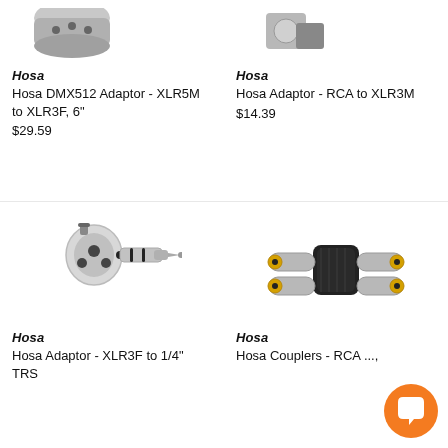[Figure (photo): Partial top view of Hosa DMX512 Adaptor XLR5M to XLR3F product photo]
[Figure (photo): Partial top view of Hosa Adaptor RCA to XLR3M product photo]
Hosa
Hosa DMX512 Adaptor - XLR5M to XLR3F, 6"
$29.59
Hosa
Hosa Adaptor - RCA to XLR3M
$14.39
[Figure (photo): Hosa Adaptor XLR3F to 1/4 inch TRS connector, silver metallic]
[Figure (photo): Hosa Couplers RCA pair, black with gold plated connectors]
Hosa
Hosa Adaptor - XLR3F to 1/4" TRS
Hosa
Hosa Couplers - RCA ..., Pair